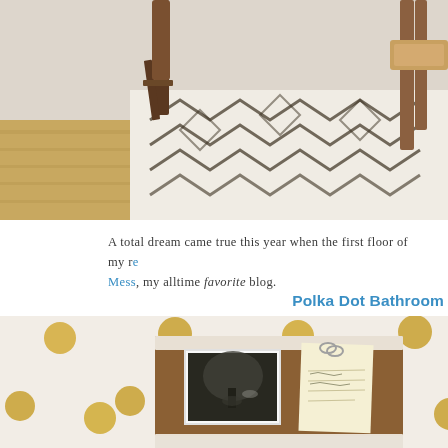[Figure (photo): Interior room photo showing a patterned white and black rug on a wood floor, with wooden furniture legs visible. Partial view cropped at top.]
A total dream came true this year when the first floor of my r[enovation was featured on Young House Love Mess], my alltime favorite blog.
Polka Dot Bathroom
[Figure (photo): Bathroom wall with gold polka dot pattern, and a wooden bulletin/memo board mounted on the wall holding a black and white photograph and a handwritten note with a paperclip. Bottom of image shows another decorative item partially visible.]